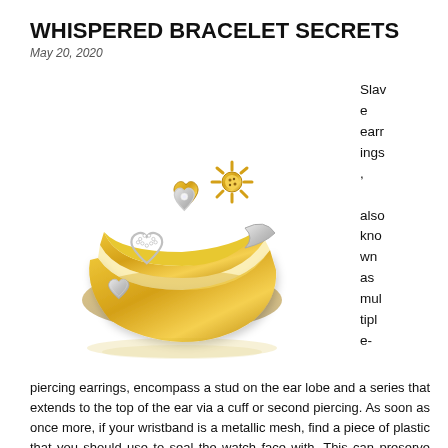WHISPERED BRACELET SECRETS
May 20, 2020
[Figure (photo): Gold and silver ring with heart-shaped and flower-shaped decorative elements set with diamonds, shown at an angle against a white background with a subtle reflection below.]
Slave earrings, also known as multiple-piercing earrings, encompass a stud on the ear lobe and a series that extends to the top of the ear via a cuff or second piercing. As soon as once more, if your wristband is a metallic mesh, find a piece of plastic that you should use to seal the watch face with. This can preserve the face protected and make sure that no cleansing resolution has a chance of